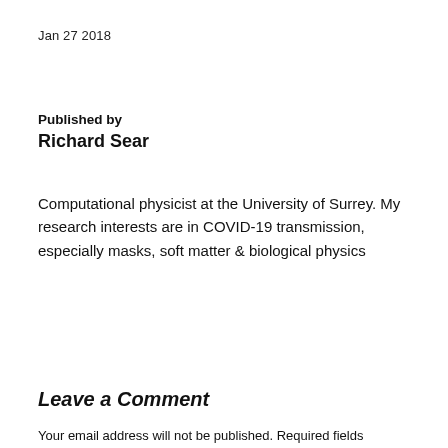Jan 27 2018
Published by
Richard Sear
Computational physicist at the University of Surrey. My research interests are in COVID-19 transmission, especially masks, soft matter & biological physics
View all posts by Richard Sear ›
Leave a Comment
Your email address will not be published. Required fields